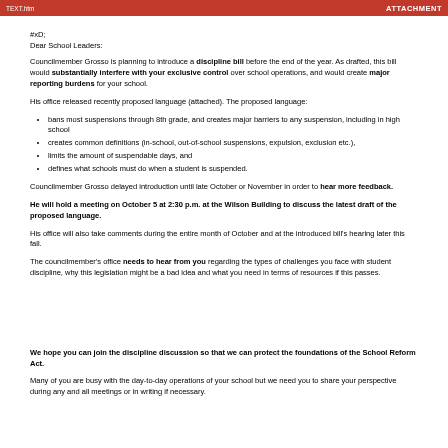TEXT.htm   ATTACHMENT
#xD;
Dear School Leaders:
Councilmember Grosso is planning to introduce a discipline bill before the end of the year.  As drafted, this bill would substantially interfere with your exclusive control over school operations, and would create major reporting burdens for your school.
His office released recently proposed language (attached).   The proposed language:
bans most suspensions through 8th grade, and creates major barriers to any suspension, including in high school
creates common definitions (in-school, out-of-school suspensions, expulsion, exclusion etc.),
limits the amount of suspendable days, and
defines what schools must do when a student is suspended.
Councilmember Grosso delayed introduction until late October or November in order to hear more feedback.
He will hold a meeting on October 5 at 2:30 p.m. at the Wilson Building to discuss the latest draft of the proposed language.
His office will also take comments during the entire month of October and at the introduced bill's hearing later this fall.
The councilmember's office needs to hear from you regarding the types of challenges you face with student discipline, why this legislation might be a bad idea and what you need in terms of resources if this passes.
We hope you can join the discipline discussion so that we can protect the foundations of the School Reform Act.
Many of you are busy with the day-to-day operations of your school but we need you to share your perspective during any and all meetings or in writing if necessary.